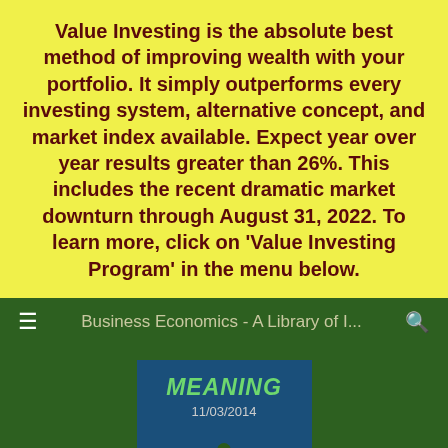Value Investing is the absolute best method of improving wealth with your portfolio. It simply outperforms every investing system, alternative concept, and market index available. Expect year over year results greater than 26%. This includes the recent dramatic market downturn through August 31, 2022. To learn more, click on 'Value Investing Program' in the menu below.
Business Economics - A Library of I...
[Figure (illustration): Book or tile image with 'MEANING' text and date 11/03/2014 on a dark blue background with a small figure silhouette]
Tangible And Intangible – Business Definitions And Use